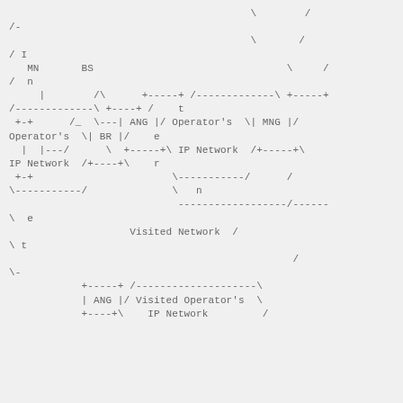[Figure (schematic): ASCII art network diagram showing MN, BS, ANG, MNG, BR nodes connected with lines and boxes, depicting Operator's IP Network and Visited Network topology with routing paths.]